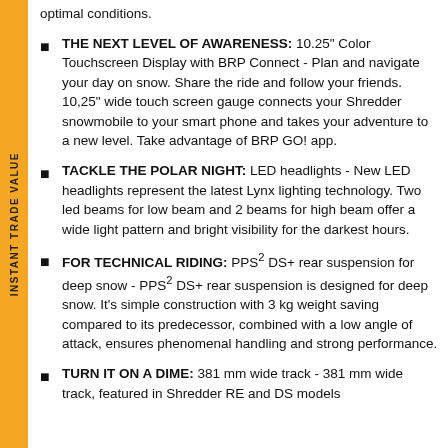optimal conditions.
THE NEXT LEVEL OF AWARENESS: 10.25" Color Touchscreen Display with BRP Connect - Plan and navigate your day on snow. Share the ride and follow your friends. 10,25" wide touch screen gauge connects your Shredder snowmobile to your smart phone and takes your adventure to a new level. Take advantage of BRP GO! app.
TACKLE THE POLAR NIGHT: LED headlights - New LED headlights represent the latest Lynx lighting technology. Two led beams for low beam and 2 beams for high beam offer a wide light pattern and bright visibility for the darkest hours.
FOR TECHNICAL RIDING: PPS² DS+ rear suspension for deep snow - PPS² DS+ rear suspension is designed for deep snow. It's simple construction with 3 kg weight saving compared to its predecessor, combined with a low angle of attack, ensures phenomenal handling and strong performance.
TURN IT ON A DIME: 381 mm wide track - 381 mm wide track, featured in Shredder RE and DS models